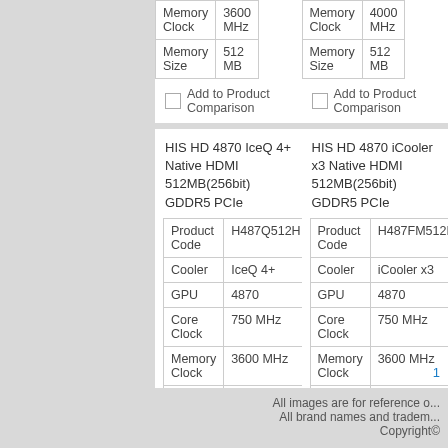|  |  |
| --- | --- |
| Memory Clock | 3600 MHz |
| Memory Size | 512 MB |
|  |  |
| --- | --- |
| Memory Clock | 4000 MHz |
| Memory Size | 512 MB |
Add to Product Comparison
Add to Product Comparison
HIS HD 4870 IceQ 4+ Native HDMI 512MB(256bit) GDDR5 PCIe
|  |  |
| --- | --- |
| Product Code | H487Q512H |
| Cooler | IceQ 4+ |
| GPU | 4870 |
| Core Clock | 750 MHz |
| Memory Clock | 3600 MHz |
| Memory Size | 512 MB |
Add to Product Comparison
HIS HD 4870 iCooler x3 Native HDMI 512MB(256bit) GDDR5 PCIe
|  |  |
| --- | --- |
| Product Code | H487FM512H |
| Cooler | iCooler x3 |
| GPU | 4870 |
| Core Clock | 750 MHz |
| Memory Clock | 3600 MHz |
| Memory Size | 512 MB |
Add to Product Comparison
All images are for reference only. All brand names and trademarks are property of their respective owners. Copyright©
1